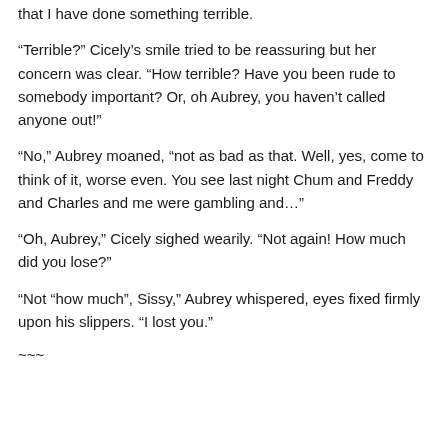that I have done something terrible.
“Terrible?” Cicely’s smile tried to be reassuring but her concern was clear. “How terrible? Have you been rude to somebody important? Or, oh Aubrey, you haven’t called anyone out!”
“No,” Aubrey moaned, “not as bad as that. Well, yes, come to think of it, worse even. You see last night Chum and Freddy and Charles and me were gambling and…”
“Oh, Aubrey,” Cicely sighed wearily. “Not again! How much did you lose?”
“Not “how much”, Sissy,” Aubrey whispered, eyes fixed firmly upon his slippers. “I lost you.”
~~~